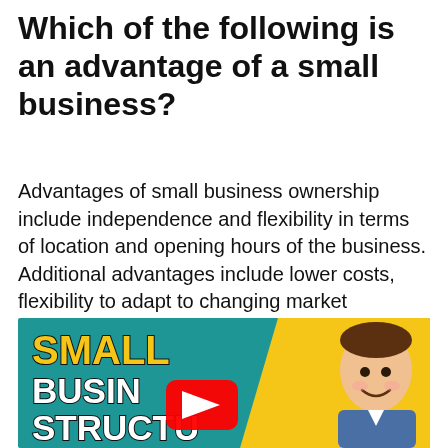Which of the following is an advantage of a small business?
Advantages of small business ownership include independence and flexibility in terms of location and opening hours of the business. Additional advantages include lower costs, flexibility to adapt to changing market conditions, focus on limited market niche and reputation.
[Figure (screenshot): YouTube video thumbnail showing the text 'SMALL BUSINESS STRUCTURE' in bold stylized letters on a teal background with a yellow panel on the right side featuring a smiling man, and a YouTube play button in the center.]